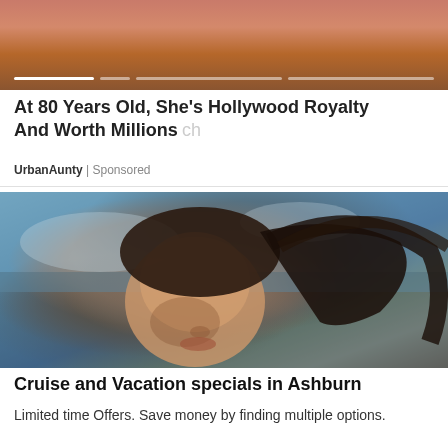[Figure (photo): Top portion of a carousel/slideshow image showing a person, cropped at top of page, with slider progress indicator dots at the bottom]
At 80 Years Old, She's Hollywood Royalty And Worth Millions
UrbanAunty | Sponsored
[Figure (photo): Young woman with dark hair blowing in the wind, eyes closed, face tilted upward toward sunlight, ocean/water in background, outdoor photo]
Cruise and Vacation specials in Ashburn
Limited time Offers. Save money by finding multiple options.